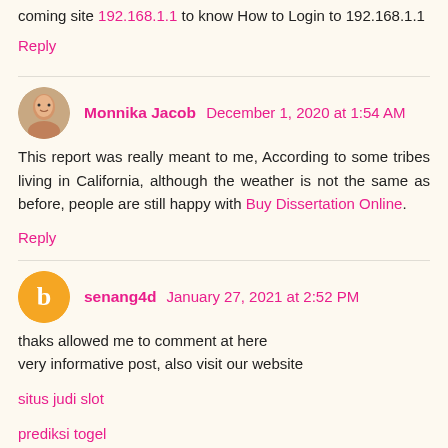coming site 192.168.1.1 to know How to Login to 192.168.1.1
Reply
Monnika Jacob December 1, 2020 at 1:54 AM
This report was really meant to me, According to some tribes living in California, although the weather is not the same as before, people are still happy with Buy Dissertation Online.
Reply
senang4d January 27, 2021 at 2:52 PM
thaks allowed me to comment at here
very informative post, also visit our website
situs judi slot
prediksi togel
Reply